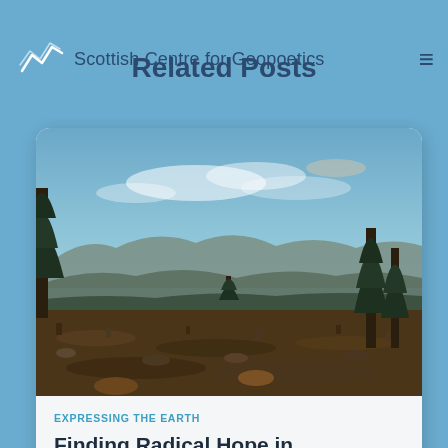Scottish Centre for Geopoetics
Related Posts
[Figure (photo): Landscape photograph of Scottish moorland with heather and sparse pine trees in the foreground, rolling hills and mountains in the middle distance, and a partly cloudy blue sky above, taken at dusk or dawn.]
EXPRESSING THE EARTH
Finding Radical Hope in Geopoetics by